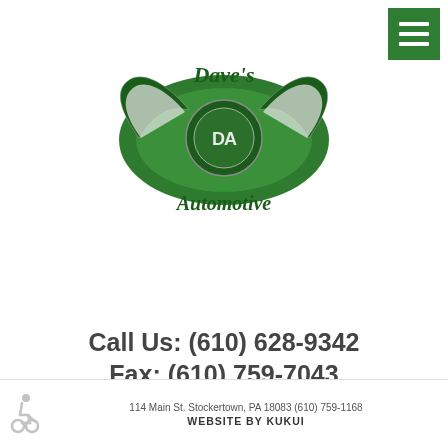[Figure (logo): Dave's Automotive logo: green winged emblem with 'Dave's' in cursive script above and 'Automotive' in italic serif below]
Call Us: (610) 628-9342
Fax: (610) 759-7043
Mon – Fri: 7:30 AM – 5:00 PM
114 Main St. , Stockertown, PA 18083
114 Main St. Stockertown, PA 18083 (610) 759-1168
WEBSITE BY KUKUI